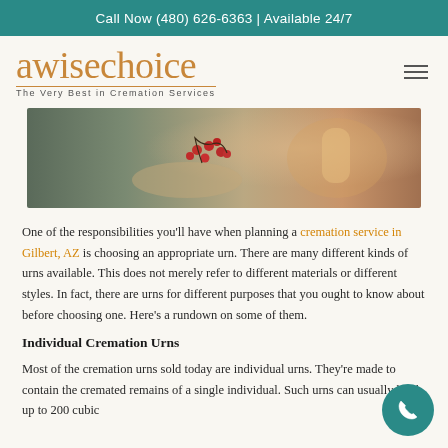Call Now (480) 626-6363 | Available 24/7
awisechoice — The Very Best in Cremation Services
[Figure (photo): Close-up photo of a hand holding red berries on a branch, with a candle in soft focus in the background, warm and muted tones.]
One of the responsibilities you'll have when planning a cremation service in Gilbert, AZ is choosing an appropriate urn. There are many different kinds of urns available. This does not merely refer to different materials or different styles. In fact, there are urns for different purposes that you ought to know about before choosing one. Here's a rundown on some of them.
Individual Cremation Urns
Most of the cremation urns sold today are individual urns. They're made to contain the cremated remains of a single individual. Such urns can usually hold up to 200 cubic